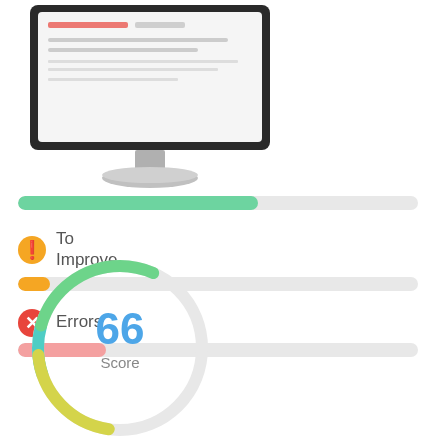[Figure (illustration): Desktop computer monitor showing a web page or report interface]
[Figure (infographic): Three horizontal progress bars: green (passed, ~60% fill), orange (to improve, ~8% fill), red (errors, ~22% fill) with corresponding icons and labels]
[Figure (infographic): Circular score gauge showing 66 Score, with a multi-color arc (teal/green/yellow) representing score level]